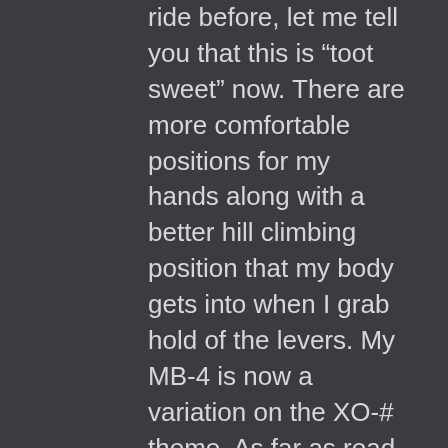ride before, let me tell you that this is “toot sweet” now. There are more comfortable positions for my hands along with a better hill climbing position that my body gets into when I grab hold of the levers. My MB-4 is now a variation on the XO-# theme. As far as road bikes go, I progressed from Schwinn as a pre-pubescent teen, to Miyata as a fresh adult, to a Vitus 979 in ‘86. As my short-lived racing career came to an abrupt end, due to being hit by a light blue Ford Fairmont, I purchased the Vitus frameset and had it built by the same local shop from which I eventually got my first Bridgestone. No other road bike rode like that Vitus, but I sold it during a weak moment back in